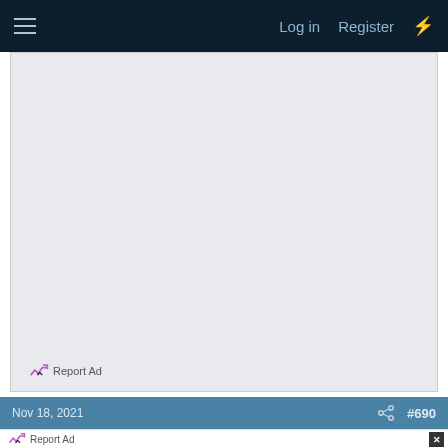Log in  Register
[Figure (screenshot): Gray advertisement placeholder area with 'Report Ad' link at bottom left]
Nov 18, 2021  #690
Report Ad
[Figure (screenshot): Sterling restaurant ad: OPEN 6AM-12AM, 45131 Columbia Place, Sterling, with navigation arrow icon]